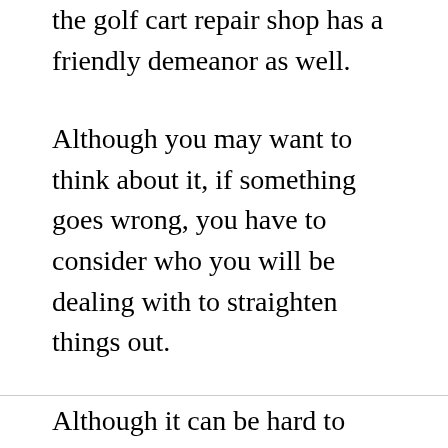the golf cart repair shop has a friendly demeanor as well.
Although you may want to think about it, if something goes wrong, you have to consider who you will be dealing with to straighten things out.
Although it can be hard to determine how good a company is at customer service, you can find lots of information on the internet.